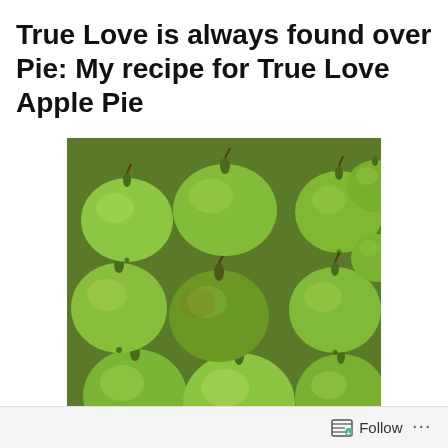True Love is always found over Pie: My recipe for True Love Apple Pie
[Figure (photo): Close-up photograph of many green apples piled together]
close up a green apples
Follow ...